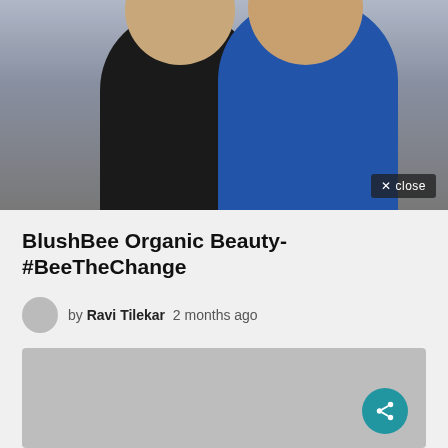[Figure (photo): Two people posing for a photo — a woman in black dress on the left and a man in a blue blazer on the right, studio-like background]
BlushBee Organic Beauty- #BeeTheChange
by Ravi Tilekar  2 months ago
[Figure (screenshot): Gray video placeholder with a teal share/social button in the bottom right corner]